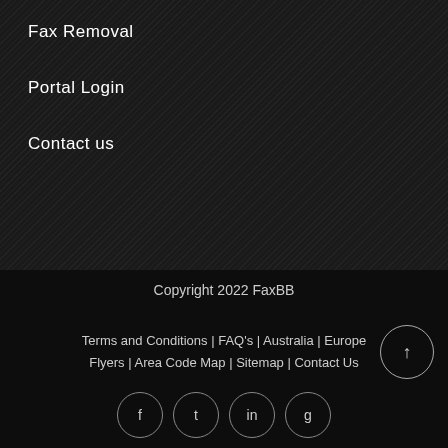Fax Removal
Portal Login
Contact us
Copyright 2022 FaxBB
Terms and Conditions | FAQ's | Australia | Europe Flyers | Area Code Map | Sitemap | Contact Us